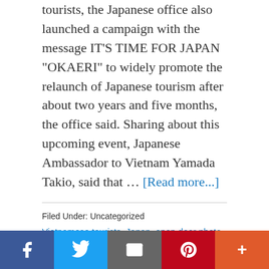tourists, the Japanese office also launched a campaign with the message IT'S TIME FOR JAPAN "OKAERI" to widely promote the relaunch of Japanese tourism after about two years and five months, the office said. Sharing about this upcoming event, Japanese Ambassador to Vietnam Yamada Takio, said that … [Read more...]
Filed Under: Uncategorized
Vietnamese tourists, Japan, open door photo, open door photography, open door photos, open door open, open door community health, open doors sa, open doors organisation, open door rehab, open doors netherlands,